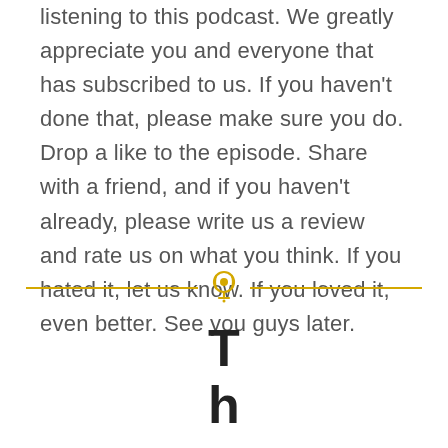listening to this podcast. We greatly appreciate you and everyone that has subscribed to us. If you haven't done that, please make sure you do. Drop a like to the episode. Share with a friend, and if you haven't already, please write us a review and rate us on what you think. If you hated it, let us know. If you loved it, even better. See you guys later.
[Figure (other): Horizontal divider with a yellow podcast microphone/lightbulb icon in the center, flanked by two yellow horizontal lines]
T
h
a
n